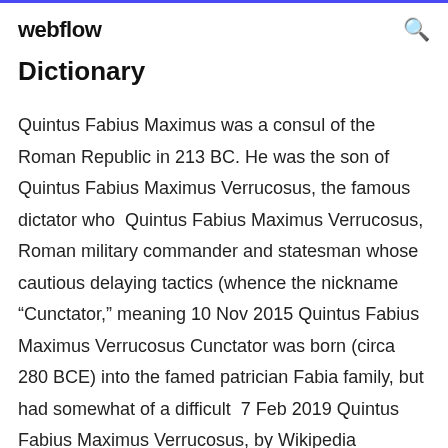webflow
Dictionary
Quintus Fabius Maximus was a consul of the Roman Republic in 213 BC. He was the son of Quintus Fabius Maximus Verrucosus, the famous dictator who  Quintus Fabius Maximus Verrucosus, Roman military commander and statesman whose cautious delaying tactics (whence the nickname “Cunctator,” meaning 10 Nov 2015 Quintus Fabius Maximus Verrucosus Cunctator was born (circa 280 BCE) into the famed patrician Fabia family, but had somewhat of a difficult  7 Feb 2019 Quintus Fabius Maximus Verrucosus, by Wikipedia https://en.wikipedia.org/wiki? curid=11371 / CC BY SA 2.0 #0 about ... BC Born ... Feb 25